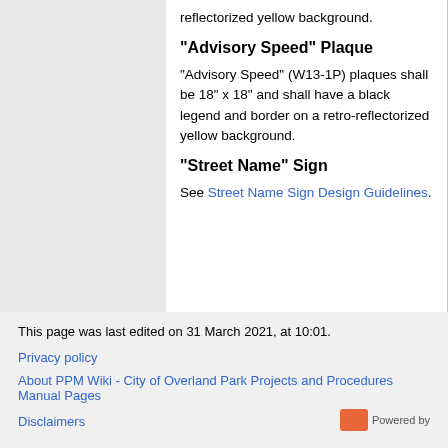reflectorized yellow background.
“Advisory Speed” Plaque
“Advisory Speed” (W13-1P) plaques shall be 18” x 18” and shall have a black legend and border on a retro-reflectorized yellow background.
"Street Name" Sign
See Street Name Sign Design Guidelines.
This page was last edited on 31 March 2021, at 10:01.
Privacy policy
About PPM Wiki - City of Overland Park Projects and Procedures Manual Pages
Disclaimers